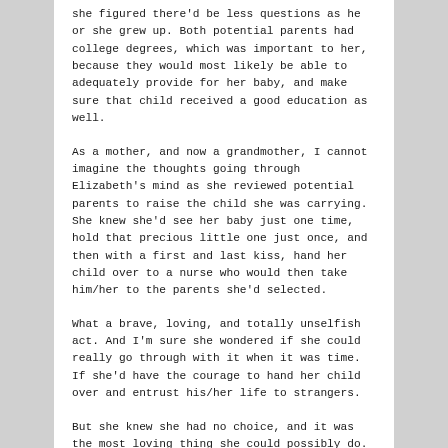she figured there'd be less questions as he or she grew up. Both potential parents had college degrees, which was important to her, because they would most likely be able to adequately provide for her baby, and make sure that child received a good education as well.
As a mother, and now a grandmother, I cannot imagine the thoughts going through Elizabeth's mind as she reviewed potential parents to raise the child she was carrying. She knew she'd see her baby just one time, hold that precious little one just once, and then with a first and last kiss, hand her child over to a nurse who would then take him/her to the parents she'd selected.
What a brave, loving, and totally unselfish act. And I'm sure she wondered if she could really go through with it when it was time. If she'd have the courage to hand her child over and entrust his/her life to strangers.
But she knew she had no choice, and it was the most loving thing she could possibly do.